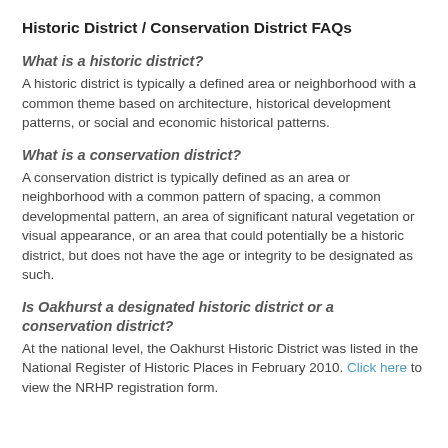Historic District / Conservation District FAQs
What is a historic district?
A historic district is typically a defined area or neighborhood with a common theme based on architecture, historical development patterns, or social and economic historical patterns.
What is a conservation district?
A conservation district is typically defined as an area or neighborhood with a common pattern of spacing, a common developmental pattern, an area of significant natural vegetation or visual appearance, or an area that could potentially be a historic district, but does not have the age or integrity to be designated as such.
Is Oakhurst a designated historic district or a conservation district?
At the national level, the Oakhurst Historic District was listed in the National Register of Historic Places in February 2010. Click here to view the NRHP registration form.